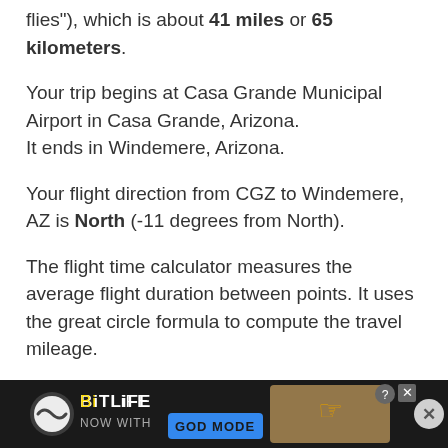flies"), which is about 41 miles or 65 kilometers.
Your trip begins at Casa Grande Municipal Airport in Casa Grande, Arizona.
It ends in Windemere, Arizona.
Your flight direction from CGZ to Windemere, AZ is North (-11 degrees from North).
The flight time calculator measures the average flight duration between points. It uses the great circle formula to compute the travel mileage.
Casa Grande Municipal Airport
IATA: CGZ
ICAO: K
[Figure (other): BitLife advertisement banner with 'NOW WITH GOD MODE' text and animated character]